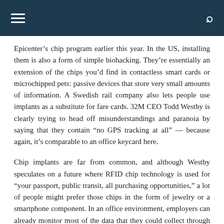Navigation bar with hamburger menu and search icon
Epicenter’s chip program earlier this year. In the US, installing them is also a form of simple biohacking. They’re essentially an extension of the chips you’d find in contactless smart cards or microchipped pets: passive devices that store very small amounts of information. A Swedish rail company also lets people use implants as a substitute for fare cards. 32M CEO Todd Westby is clearly trying to head off misunderstandings and paranoia by saying that they contain “no GPS tracking at all” — because again, it’s comparable to an office keycard here.
Chip implants are far from common, and although Westby speculates on a future where RFID chip technology is used for “your passport, public transit, all purchasing opportunities,” a lot of people might prefer those chips in the form of jewelry or a smartphone component. In an office environment, employers can already monitor most of the data that they could collect through these chips, but in a larger environment, a device you couldn’t easily remove could raise privacy concerns. Still, this is a good sign for biohacking